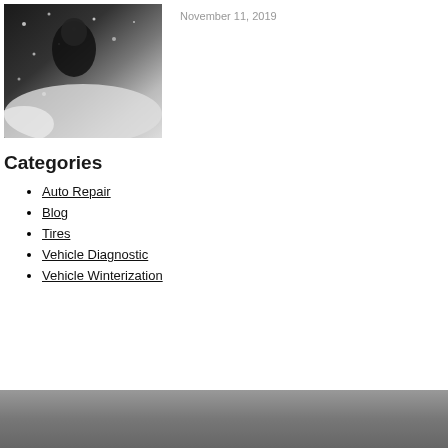[Figure (photo): Person in dark winter clothing in snowy conditions]
November 11, 2019
Categories
Auto Repair
Blog
Tires
Vehicle Diagnostic
Vehicle Winterization
[Figure (photo): Dark gray surface, partially visible at bottom of page]